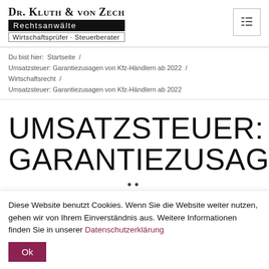Dr. Kluth & von Zech Rechtsanwälte Wirtschaftsprüfer · Steuerberater
Du bist hier: Startseite / Umsatzsteuer: Garantiezusagen von Kfz-Händlern ab 2022 / Wirtschaftsrecht / Umsatzsteuer: Garantiezusagen von Kfz-Händlern ab 2022
UMSATZSTEUER: GARANTIEZUSAGEN
Diese Website benutzt Cookies. Wenn Sie die Website weiter nutzen, gehen wir von Ihrem Einverständnis aus. Weitere Informationen finden Sie in unserer Datenschutzerklärung